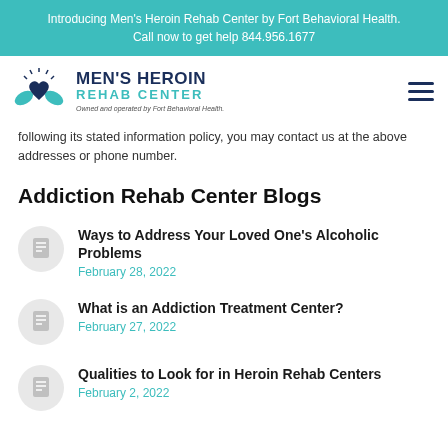Introducing Men's Heroin Rehab Center by Fort Behavioral Health. Call now to get help 844.956.1677
[Figure (logo): Men's Heroin Rehab Center logo with teal hands holding a heart, owned and operated by Fort Behavioral Health]
following its stated information policy, you may contact us at the above addresses or phone number.
Addiction Rehab Center Blogs
Ways to Address Your Loved One's Alcoholic Problems
February 28, 2022
What is an Addiction Treatment Center?
February 27, 2022
Qualities to Look for in Heroin Rehab Centers
February 2, 2022